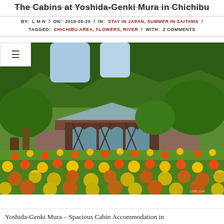The Cabins at Yoshida-Genki Mura in Chichibu
BY: L M N / ON: 2019-05-20 / IN: STAY IN JAPAN, SUMMER IN SAITAMA / TAGGED: CHICHIBU AREA, FLOWERS, RIVER / WITH: 2 COMMENTS
[Figure (photo): A photo of a rustic wooden building with arched windows, surrounded by a colorful field of orange and yellow marigold flowers in the foreground, with lush green trees in the background.]
Yoshida-Genki Mura – Spacious Cabin Accommodation in